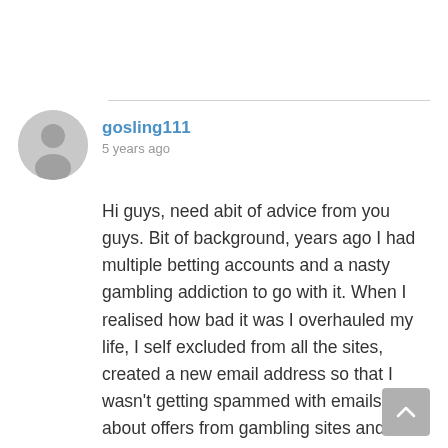[Figure (illustration): Circular grey avatar placeholder icon with a generic person silhouette]
gosling111
5 years ago
Hi guys, need abit of advice from you guys. Bit of background, years ago I had multiple betting accounts and a nasty gambling addiction to go with it. When I realised how bad it was I overhauled my life, I self excluded from all the sites, created a new email address so that I wasn't getting spammed with emails about offers from gambling sites and stopped completely. Fast forward to 6 months ago I'm married with my own house And I decided I wanted to start having a bet on the football, limiting